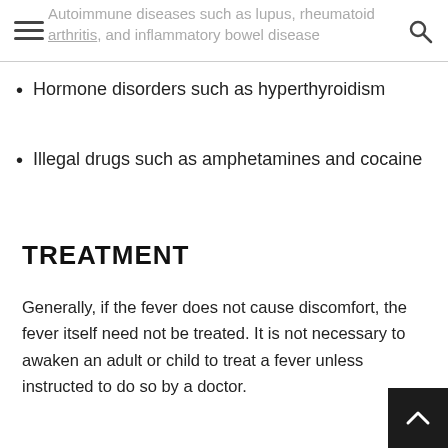Navigation header with menu and search icons
Autoimmune diseases such as lupus, rheumatoid arthritis, and inflammatory bowel disease
Hormone disorders such as hyperthyroidism
Illegal drugs such as amphetamines and cocaine
TREATMENT
Generally, if the fever does not cause discomfort, the fever itself need not be treated. It is not necessary to awaken an adult or child to treat a fever unless instructed to do so by a doctor.
The following fever-reducing medications may be used at home: